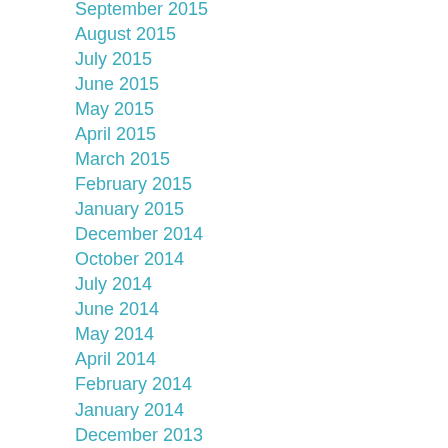September 2015
August 2015
July 2015
June 2015
May 2015
April 2015
March 2015
February 2015
January 2015
December 2014
October 2014
July 2014
June 2014
May 2014
April 2014
February 2014
January 2014
December 2013
November 2013
October 2013
September 2013
August 2013